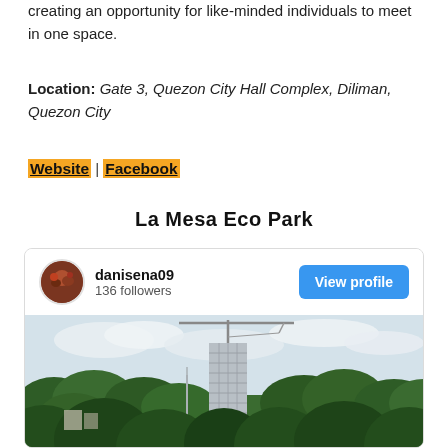creating an opportunity for like-minded individuals to meet in one space.
Location: Gate 3, Quezon City Hall Complex, Diliman, Quezon City
Website | Facebook
La Mesa Eco Park
[Figure (screenshot): Instagram-style card showing user danisena09 with 136 followers and a View profile button, with a photo of a green forested area with a building under construction and a crane in the background under a cloudy sky.]